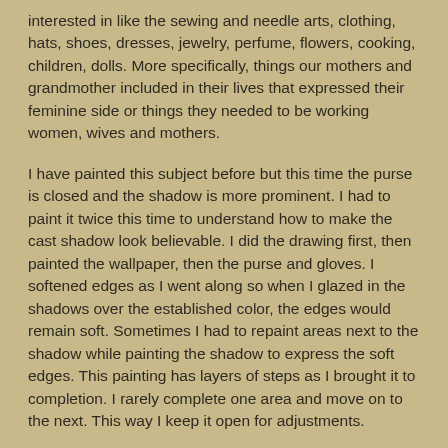interested in like the sewing and needle arts, clothing, hats, shoes, dresses, jewelry, perfume, flowers, cooking, children, dolls. More specifically, things our mothers and grandmother included in their lives that expressed their feminine side or things they needed to be working women, wives and mothers.
I have painted this subject before but this time the purse is closed and the shadow is more prominent. I had to paint it twice this time to understand how to make the cast shadow look believable. I did the drawing first, then painted the wallpaper, then the purse and gloves. I softened edges as I went along so when I glazed in the shadows over the established color, the edges would remain soft. Sometimes I had to repaint areas next to the shadow while painting the shadow to express the soft edges. This painting has layers of steps as I brought it to completion. I rarely complete one area and move on to the next. This way I keep it open for adjustments.
12 X 16
Oil on canvas board